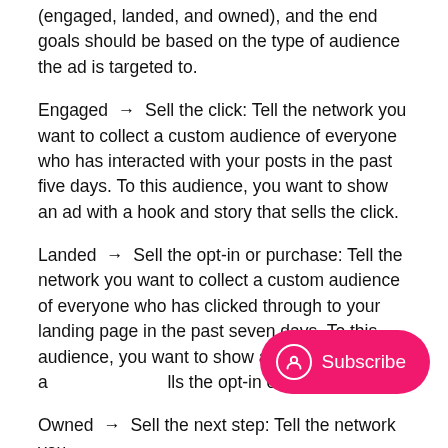(engaged, landed, and owned), and the end goals should be based on the type of audience the ad is targeted to.
Engaged → Sell the click: Tell the network you want to collect a custom audience of everyone who has interacted with your posts in the past five days. To this audience, you want to show an ad with a hook and story that sells the click.
Landed → Sell the opt-in or purchase: Tell the network you want to collect a custom audience of everyone who has clicked through to your landing page in the past seven days. To this audience, you want to show an ad with a hook a…lls the opt-in or purchase.
Owned → Sell the next step: Tell the network you